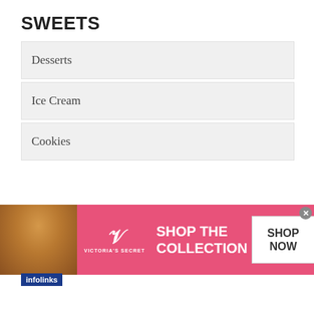SWEETS
Desserts
Ice Cream
Cookies
MAMA'S STUFF!
Mama's Blog
Mama's Cookbook
[Figure (infographic): Victoria's Secret advertisement banner showing a woman with curly hair on pink background with VS logo, text 'SHOP THE COLLECTION' and 'SHOP NOW' button. Infolinks label visible.]